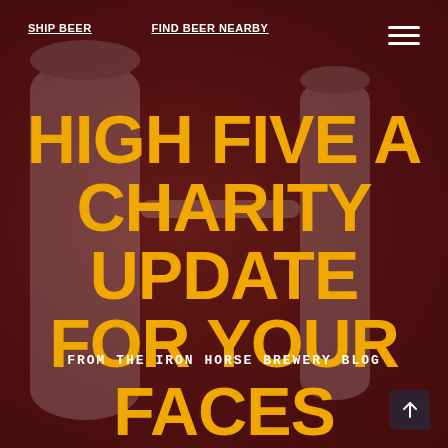SHIP BEER   FIND BEER NEARBY
HIGH FIVE A CHARITY UPDATE FOR YOUR FACES
FROM THE IRON HORSE BREWERY BLOG